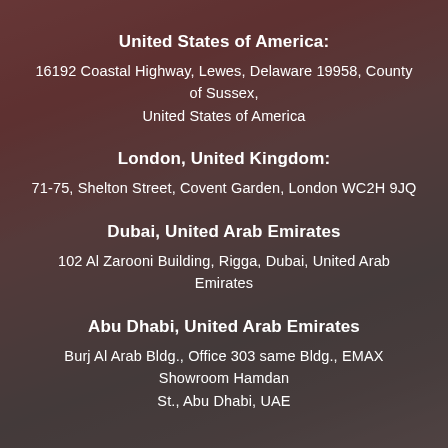United States of America:
16192 Coastal Highway, Lewes, Delaware 19958, County of Sussex, United States of America
London, United Kingdom:
71-75, Shelton Street, Covent Garden, London WC2H 9JQ
Dubai, United Arab Emirates
102 Al Zarooni Building, Rigga, Dubai, United Arab Emirates
Abu Dhabi, United Arab Emirates
Burj Al Arab Bldg., Office 303 same Bldg., EMAX Showroom Hamdan St., Abu Dhabi, UAE